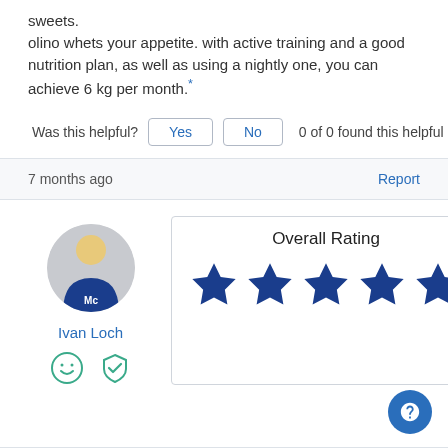sweets.
olino whets your appetite. with active training and a good nutrition plan, as well as using a nightly one, you can achieve 6 kg per month.*
Was this helpful?   Yes   No   0 of 0 found this helpful
7 months ago
Report
Ivan Loch
Overall Rating
[Figure (illustration): 5 filled dark blue stars representing an overall rating of 5 out of 5]
[Figure (illustration): Circular avatar of a person wearing a blue jersey with 'Mc' logo, gray background. Below are two icons: a face icon and a shield with checkmark.]